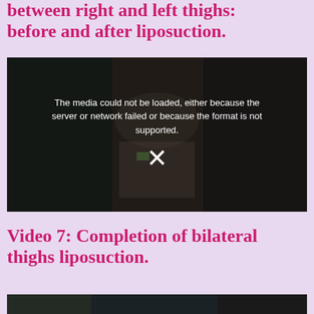between right and left thighs: before and after liposuction.
[Figure (other): Video placeholder showing a surgical scene with a media-not-loaded error overlay. Text reads: 'The media could not be loaded, either because the server or network failed or because the format is not supported.' with an X symbol below.]
Video 7: Completion of bilateral thighs liposuction.
[Figure (photo): Bottom portion of a second video showing a dark surgical scene, partially visible.]